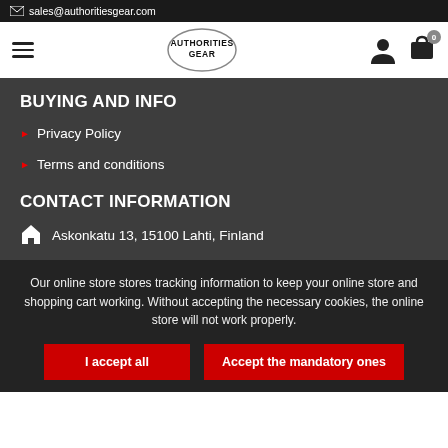sales@authoritiesgear.com
[Figure (logo): Authorities Gear logo in oval shape with hamburger menu, user icon, and cart icon in navigation bar]
BUYING AND INFO
Privacy Policy
Terms and conditions
CONTACT INFORMATION
Askonkatu 13, 15100 Lahti, Finland
Our online store stores tracking information to keep your online store and shopping cart working. Without accepting the necessary cookies, the online store will not work properly.
I accept all | Accept the mandatory ones